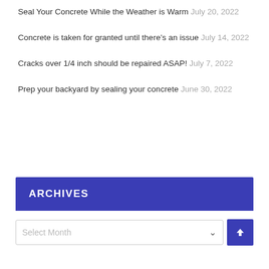Seal Your Concrete While the Weather is Warm July 20, 2022
Concrete is taken for granted until there's an issue July 14, 2022
Cracks over 1/4 inch should be repaired ASAP! July 7, 2022
Prep your backyard by sealing your concrete June 30, 2022
ARCHIVES
Select Month